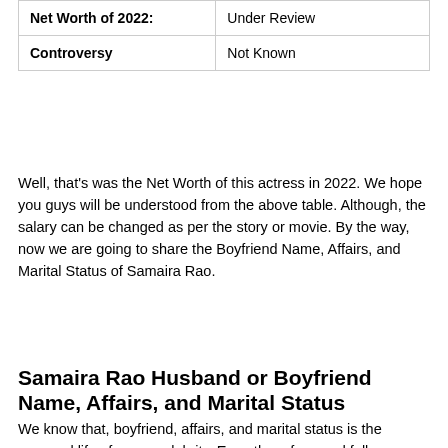|  |  |
| --- | --- |
| Net Worth of 2022: | Under Review |
| Controversy | Not Known |
Well, that's was the Net Worth of this actress in 2022. We hope you guys will be understood from the above table. Although, the salary can be changed as per the story or movie. By the way, now we are going to share the Boyfriend Name, Affairs, and Marital Status of Samaira Rao.
Samaira Rao Husband or Boyfriend Name, Affairs, and Marital Status
We know that, boyfriend, affairs, and marital status is the personal life of every celebrity. Even then, fans and followers